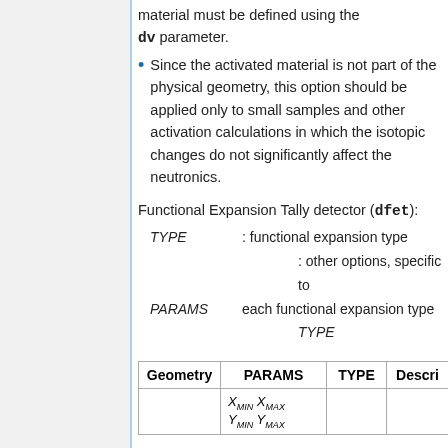material must be defined using the dv parameter.
Since the activated material is not part of the physical geometry, this option should be applied only to small samples and other activation calculations in which the isotopic changes do not significantly affect the neutronics.
Functional Expansion Tally detector (dfet):
TYPE : functional expansion type
     : other options, specific to
PARAMS each functional expansion type
     TYPE
| Geometry | PARAMS | TYPE | Descri… |
| --- | --- | --- | --- |
|  | X_MIN X_MAX
Y_MIN Y_MAX… |  |  |